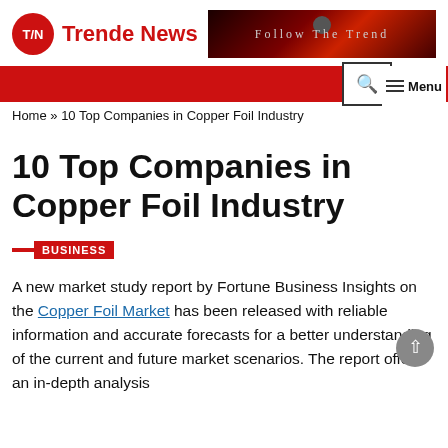Trende News | Follow The Trend
Home » 10 Top Companies in Copper Foil Industry
10 Top Companies in Copper Foil Industry
BUSINESS
A new market study report by Fortune Business Insights on the Copper Foil Market has been released with reliable information and accurate forecasts for a better understanding of the current and future market scenarios. The report offers an in-depth analysis